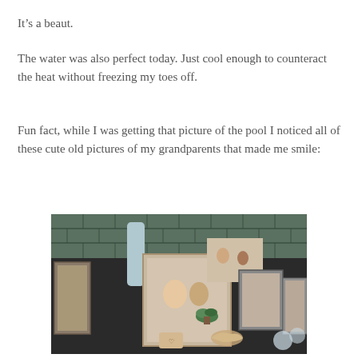It's a beaut.
The water was also perfect today. Just cool enough to counteract the heat without freezing my toes off.
Fun fact, while I was getting that picture of the pool I noticed all of these cute old pictures of my grandparents that made me smile:
[Figure (photo): A collection of framed family photographs displayed on a dark countertop against a green subway tile backsplash. The photos include old pictures of grandparents. Decorative items such as a small succulent plant, crystal objects, and figurines are also visible.]